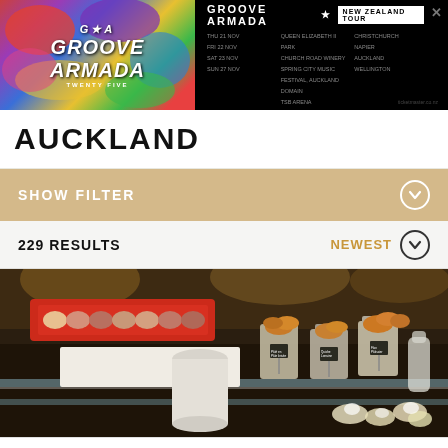[Figure (screenshot): Groove Armada New Zealand Tour advertisement banner with colorful graffiti-style graphic on left and tour dates on black background on right]
AUCKLAND
SHOW FILTER
229 RESULTS
NEWEST
[Figure (photo): Bakery display case showing macarons in a red box and various pastries in metal containers with small chalkboard signs, with cream puffs and desserts visible through glass case]
Home   Featured   Nearby   Popular   Latest